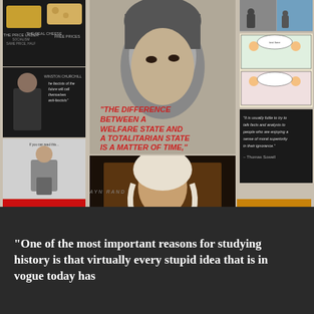[Figure (photo): Collage of political quote images including Ayn Rand, Winston Churchill, Thomas Sowell, Thomas Jefferson, Margaret Thatcher quotes, and political commentary images]
"One of the most important reasons for studying history is that virtually every stupid idea that is in vogue today has